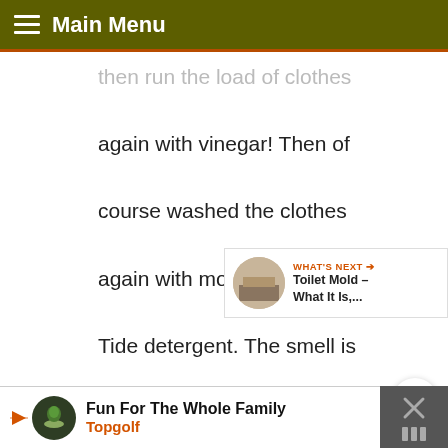Main Menu
then run the load of clothes again with vinegar! Then of course washed the clothes again with more vinegar and Tide detergent. The smell is gone. The Question is, are the mold spores and mycotoxins gone? I also put my
Fun For The Whole Family — Topgolf (advertisement)